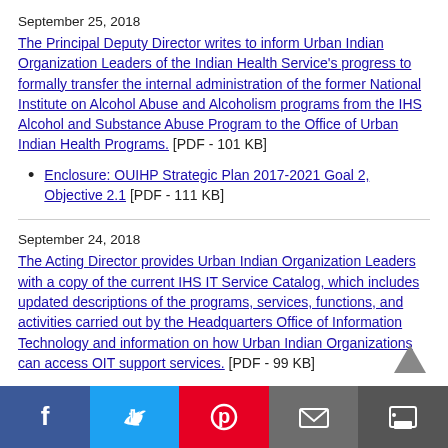September 25, 2018
The Principal Deputy Director writes to inform Urban Indian Organization Leaders of the Indian Health Service's progress to formally transfer the internal administration of the former National Institute on Alcohol Abuse and Alcoholism programs from the IHS Alcohol and Substance Abuse Program to the Office of Urban Indian Health Programs. [PDF - 101 KB]
Enclosure: OUIHP Strategic Plan 2017-2021 Goal 2, Objective 2.1 [PDF - 111 KB]
September 24, 2018
The Acting Director provides Urban Indian Organization Leaders with a copy of the current IHS IT Service Catalog, which includes updated descriptions of the programs, services, functions, and activities carried out by the Headquarters Office of Information Technology and information on how Urban Indian Organizations can access OIT support services. [PDF - 99 KB]